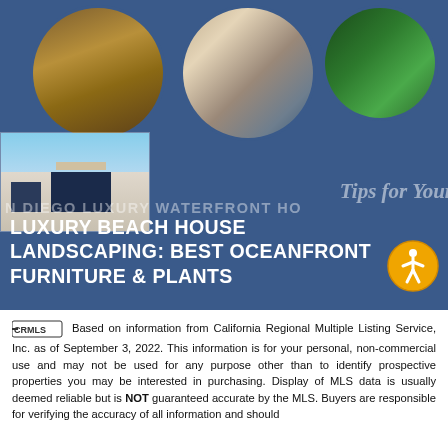[Figure (photo): Hero banner image with dark blue background showing circular photo cutouts of outdoor/patio scenes and plants, overlaid with article title text about luxury beach house landscaping. A small house exterior photo appears in the lower-left portion of the banner. An accessibility icon (person in circle) appears bottom-right.]
LUXURY BEACH HOUSE LANDSCAPING: BEST OCEANFRONT FURNITURE & PLANTS
Based on information from California Regional Multiple Listing Service, Inc. as of September 3, 2022. This information is for your personal, non-commercial use and may not be used for any purpose other than to identify prospective properties you may be interested in purchasing. Display of MLS data is usually deemed reliable but is NOT guaranteed accurate by the MLS. Buyers are responsible for verifying the accuracy of all information and should